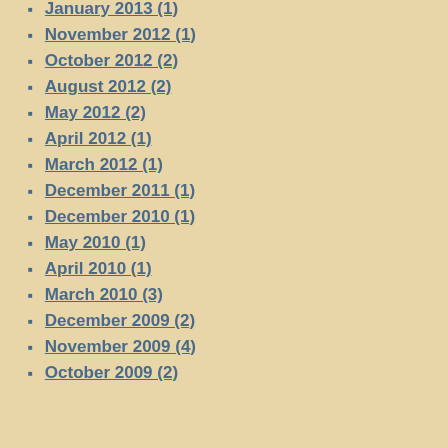January 2013 (1)
November 2012 (1)
October 2012 (2)
August 2012 (2)
May 2012 (2)
April 2012 (1)
March 2012 (1)
December 2011 (1)
December 2010 (1)
May 2010 (1)
April 2010 (1)
March 2010 (3)
December 2009 (2)
November 2009 (4)
October 2009 (2)